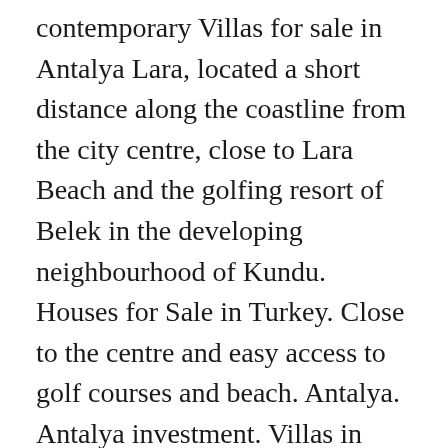contemporary Villas for sale in Antalya Lara, located a short distance along the coastline from the city centre, close to Lara Beach and the golfing resort of Belek in the developing neighbourhood of Kundu. Houses for Sale in Turkey. Close to the centre and easy access to golf courses and beach. Antalya. Antalya investment. Villas in Turkey serve up beautiful homes in delightful locations. 03339 872291 Local call rate. £80,880 [€89,000] 3 + 1 AVSALLAR VILLAS – VILLA AVSALLAR Wonderful sunny holiday home in quiet surroundings Wo... 3 2 . An affordable Antalya investment property close to golf courses and the Land of Legends theme park. €255.000 EUR 255.000 USD 311 939 RUB 22 766 273 SEK 2 591 428 JOD